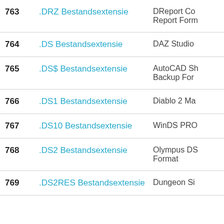| # | Extension | Description |
| --- | --- | --- |
| 763 | .DRZ Bestandsextensie | DReport Co... Report Form... |
| 764 | .DS Bestandsextensie | DAZ Studio |
| 765 | .DS$ Bestandsextensie | AutoCAD Sh... Backup For... |
| 766 | .DS1 Bestandsextensie | Diablo 2 Ma... |
| 767 | .DS10 Bestandsextensie | WinDS PRO... |
| 768 | .DS2 Bestandsextensie | Olympus DS... Format |
| 769 | .DS2RES Bestandsextensie | Dungeon Si... |